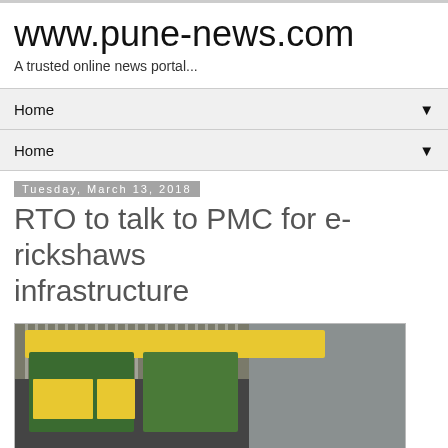www.pune-news.com
A trusted online news portal...
Home ▼
Home ▼
Tuesday, March 13, 2018
RTO to talk to PMC for e-rickshaws infrastructure
[Figure (photo): Yellow and green e-rickshaws parked in a row, with a gate visible in the background]